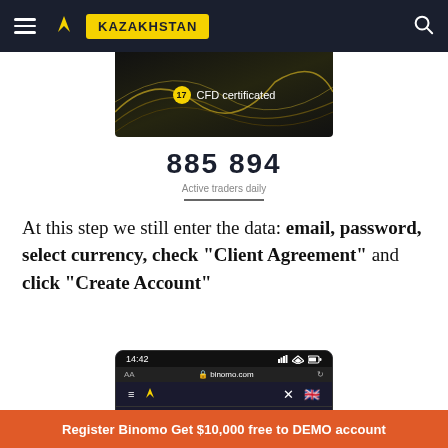[Figure (screenshot): Binomo website Kazakhstan navigation bar with hamburger menu, logo, KAZAKHSTAN label and search icon on dark background]
[Figure (screenshot): Binomo CFD certificated screen with golden wave lines]
885 894
Active traders daily
At this step we still enter the data: email, password, select currency, check "Client Agreement" and click "Create Account"
[Figure (screenshot): Binomo mobile app signup screen showing 14:42 time, binomo.com URL bar, Sign-up and Login tabs]
Register Binomo Get $10,000 free to DEMO account